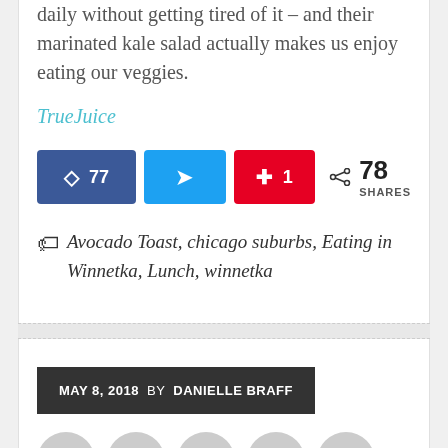daily without getting tired of it – and their marinated kale salad actually makes us enjoy eating our veggies.
TrueJuice
Share buttons: Facebook 77, Twitter, Pinterest 1, 78 SHARES
Avocado Toast, chicago suburbs, Eating in Winnetka, Lunch, winnetka
MAY 8, 2018  BY DANIELLE BRAFF